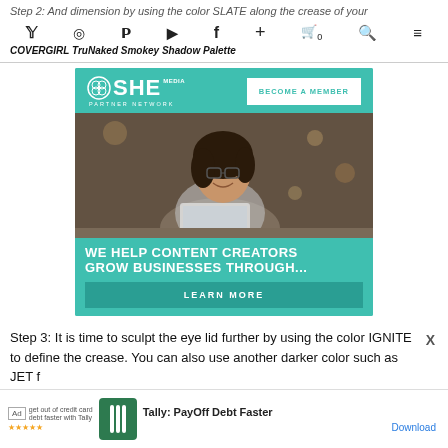Step 2: Add dimension by using the color SLATE along the crease of your lid and shades are blended COVERGIRL TruNaked Smokey Shadow Palette
[Figure (infographic): SHE Media Partner Network advertisement banner with teal background. Top section shows SHE Media logo and 'BECOME A MEMBER' button. Middle section shows photo of smiling woman with glasses using a laptop. Bottom section reads 'WE HELP CONTENT CREATORS GROW BUSINESSES THROUGH...' with a 'LEARN MORE' button.]
Step 3: It is time to sculpt the eye lid further by using the color IGNITE to define the crease. You can also use another darker color such as JET f
[Figure (infographic): Bottom advertisement bar for Tally: PayOff Debt Faster app with Ad label, colorful icon, app name, and Download link.]